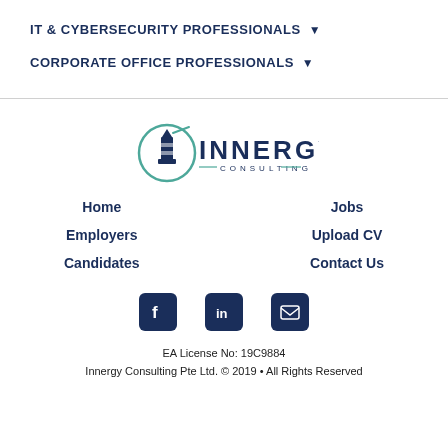IT & CYBERSECURITY PROFESSIONALS ▼
CORPORATE OFFICE PROFESSIONALS ▼
[Figure (logo): Innergy Consulting logo with lighthouse icon and teal circle]
Home
Jobs
Employers
Upload CV
Candidates
Contact Us
[Figure (infographic): Social media icons: Facebook, LinkedIn, Email]
EA License No: 19C9884
Innergy Consulting Pte Ltd. © 2019 • All Rights Reserved